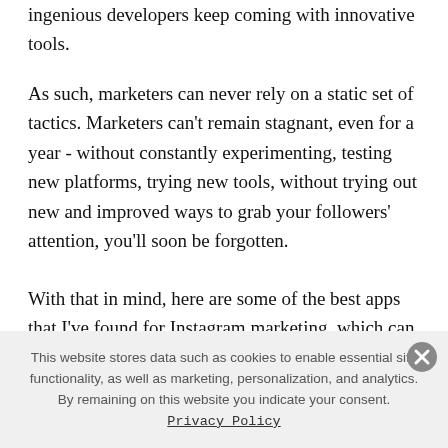ingenious developers keep coming with innovative tools.
As such, marketers can never rely on a static set of tactics. Marketers can't remain stagnant, even for a year - without constantly experimenting, testing new platforms, trying new tools, without trying out new and improved ways to grab your followers' attention, you'll soon be forgotten.
With that in mind, here are some of the best apps that I've found for Instagram marketing, which can help to add something fresh to your platform efforts.
This website stores data such as cookies to enable essential site functionality, as well as marketing, personalization, and analytics. By remaining on this website you indicate your consent. Privacy Policy